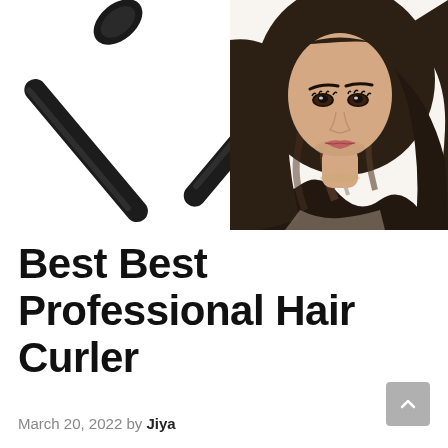[Figure (photo): Composite image: two crossed black heatless curl rods tied with black satin ribbon on the left, and a glamorous woman with long wavy dark brunette hair with highlights on the right, against a white background.]
Best Best Professional Hair Curler
March 20, 2022 by Jiya